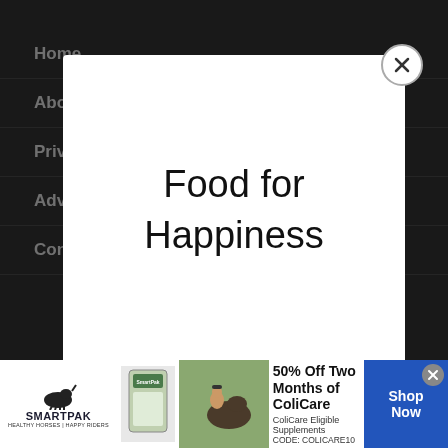Home
About
Privacy Policy
Adve...
Con...
[Figure (screenshot): A modal popup overlay containing the text 'Food for Happiness' in large font, with a circular close (X) button in the top-right corner of the modal.]
[Figure (infographic): SmartPak advertisement banner: '50% Off Two Months of ColiCare, ColiCare Eligible Supplements, CODE: COLICARE10', with Shop Now button, product image, horse and rider photo, and SmartPak logo.]